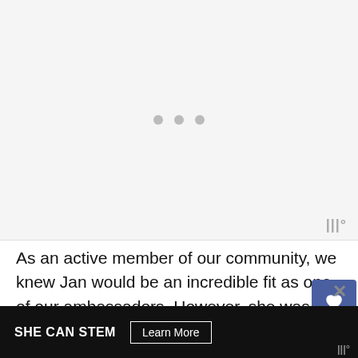[Figure (other): Light grey placeholder image area with three grey dots centered and a watermark symbol in the bottom right]
As an active member of our community, we knew Jan would be an incredible fit as one of our ambassadors. However, she was hesitant when we first approached her. Jan said, "When GTS invited me to be one of their
[Figure (other): Dark advertisement banner at the bottom reading SHE CAN STEM with a Learn More button]